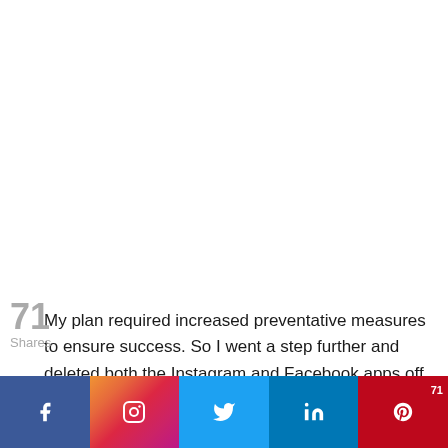My plan required increased preventative measures to ensure success. So I went a step further and deleted both the Instagram and Facebook apps off my phone. That way, if I wanted to use the apps, I would have to type in the pass...
[Figure (infographic): Social share bar with Facebook (blue), Instagram (gradient), Twitter (light blue), LinkedIn (dark blue), Pinterest (red) buttons and share count of 71]